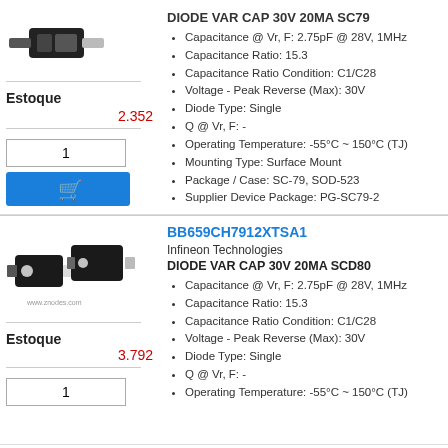[Figure (photo): Small black SMD diode component photo]
Estoque
2.352
1
[Figure (other): Blue shopping cart button]
DIODE VAR CAP 30V 20MA SC79
Capacitance @ Vr, F: 2.75pF @ 28V, 1MHz
Capacitance Ratio: 15.3
Capacitance Ratio Condition: C1/C28
Voltage - Peak Reverse (Max): 30V
Diode Type: Single
Q @ Vr, F: -
Operating Temperature: -55°C ~ 150°C (TJ)
Mounting Type: Surface Mount
Package / Case: SC-79, SOD-523
Supplier Device Package: PG-SC79-2
pacote: SC-79, SOD-523
[Figure (photo): Two black SMD diode components photo with watermark]
BB659CH7912XTSA1
Infineon Technologies
DIODE VAR CAP 30V 20MA SCD80
Capacitance @ Vr, F: 2.75pF @ 28V, 1MHz
Capacitance Ratio: 15.3
Capacitance Ratio Condition: C1/C28
Voltage - Peak Reverse (Max): 30V
Diode Type: Single
Q @ Vr, F: -
Operating Temperature: -55°C ~ 150°C (TJ)
Estoque
3.792
1